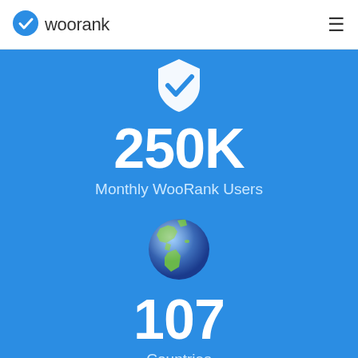[Figure (logo): WooRank logo with blue shield/checkmark icon and 'woorank' text in grey]
≡
[Figure (infographic): Blue background with WooRank checkmark shield icon, large text '250K', subtitle 'Monthly WooRank Users', globe emoji icon, large text '107', subtitle 'Countries']